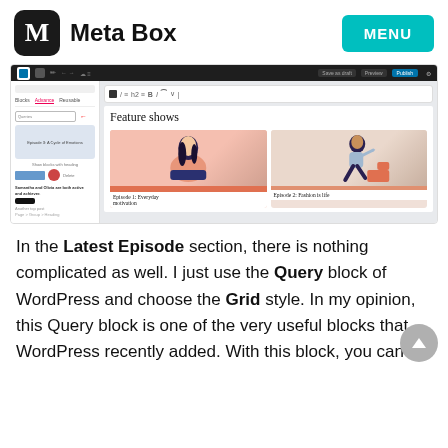Meta Box
[Figure (screenshot): WordPress block editor screenshot showing a 'Feature shows' page with a grid of two podcast episode cards: 'Episode 1: Everyday motivation' and 'Episode 2: Fashion is life'. Left panel shows Query block settings with a dropdown selector.]
In the Latest Episode section, there is nothing complicated as well. I just use the Query block of WordPress and choose the Grid style. In my opinion, this Query block is one of the very useful blocks that WordPress recently added. With this block, you can